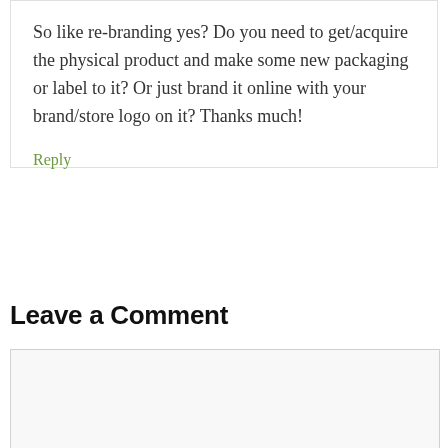So like re-branding yes? Do you need to get/acquire the physical product and make some new packaging or label to it? Or just brand it online with your brand/store logo on it? Thanks much!
Reply
Leave a Comment